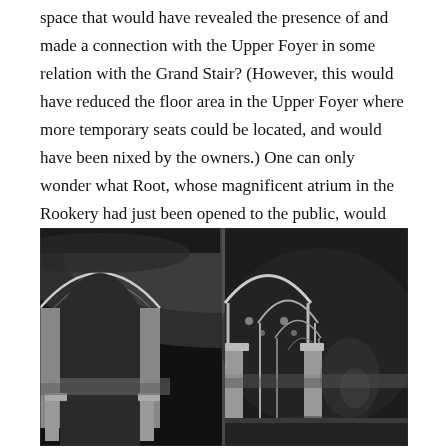space that would have revealed the presence of and made a connection with the Upper Foyer in some relation with the Grand Stair? (However, this would have reduced the floor area in the Upper Foyer where more temporary seats could be located, and would have been nixed by the owners.) One can only wonder what Root, whose magnificent atrium in the Rookery had just been opened to the public, would have choreographed in this location?
[Figure (photo): Black and white historical photograph showing the interior of a building with arched vaulted ceilings, ornate columns, and a series of arches receding into the background. The image appears to be a composite or diptych showing two slightly different views of the same grand interior space, possibly the Rookery building.]